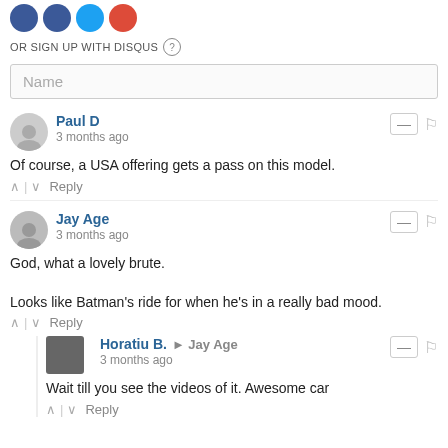[Figure (other): Social login icons (Facebook, Twitter, Twitter, Google+) partially cropped at top]
OR SIGN UP WITH DISQUS (?)
Name
Paul D
3 months ago
Of course, a USA offering gets a pass on this model.
↑ | ↓  Reply
Jay Age
3 months ago
God, what a lovely brute.

Looks like Batman's ride for when he's in a really bad mood.
↑ | ↓  Reply
Horatiu B. → Jay Age
3 months ago
Wait till you see the videos of it. Awesome car
↑ | ↓  Reply